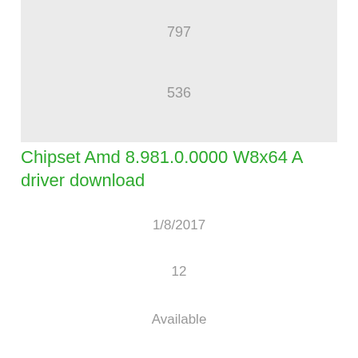[Figure (other): Gray background box in upper portion of page]
797
536
Chipset Amd 8.981.0.0000 W8x64 A driver download
1/8/2017
12
Available